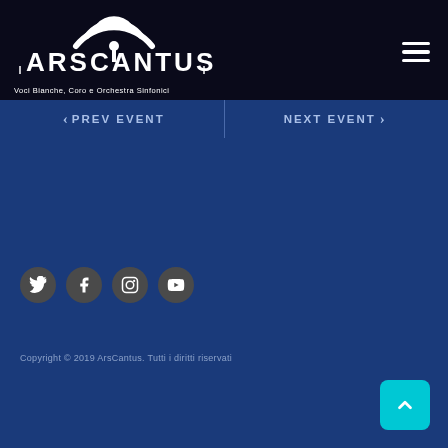[Figure (logo): ArsCantus logo with white arc/wifi symbol above the text ARSCANTUS and subtitle Voci Bianche, Coro e Orchestra Sinfonici on a dark navy background]
PREV EVENT   NEXT EVENT
[Figure (infographic): Social media icons row: Twitter, Facebook, Instagram, YouTube - dark circular buttons]
Copyright © 2019 ArsCantus. Tutti i diritti riservati